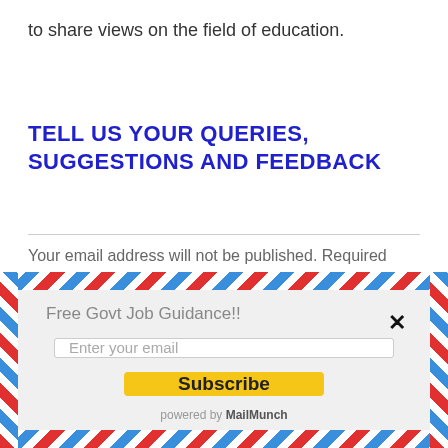to share views on the field of education.
TELL US YOUR QUERIES, SUGGESTIONS AND FEEDBACK
Your email address will not be published. Required fields
[Figure (screenshot): Popup modal with airmail striped border containing 'Free Govt Job Guidance!!' heading, an email input field, a yellow Subscribe button, and 'powered by MailMunch' footer. A close (×) button appears in the top right.]